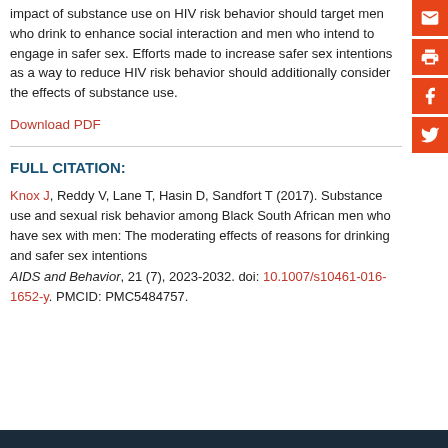impact of substance use on HIV risk behavior should target men who drink to enhance social interaction and men who intend to engage in safer sex. Efforts made to increase safer sex intentions as a way to reduce HIV risk behavior should additionally consider the effects of substance use.
Download PDF
FULL CITATION:
Knox J, Reddy V, Lane T, Hasin D, Sandfort T (2017). Substance use and sexual risk behavior among Black South African men who have sex with men: The moderating effects of reasons for drinking and safer sex intentions AIDS and Behavior, 21 (7), 2023-2032. doi: 10.1007/s10461-016-1652-y. PMCID: PMC5484757.